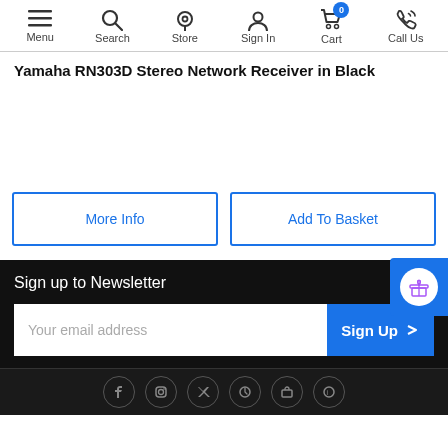Menu | Search | Store | Sign In | Cart (0) | Call Us
Yamaha RN303D Stereo Network Receiver in Black
More Info
Add To Basket
Sign up to Newsletter
Your email address
Sign Up